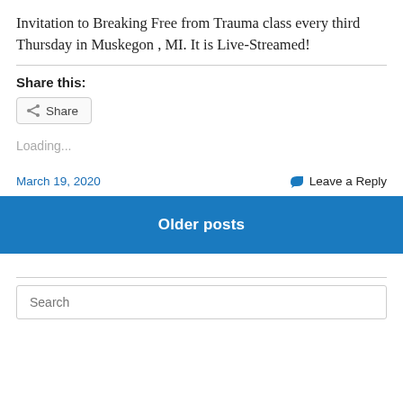Invitation to Breaking Free from Trauma class every third Thursday in Muskegon , MI. It is Live-Streamed!
Share this:
Loading...
March 19, 2020   Leave a Reply
Older posts
Search